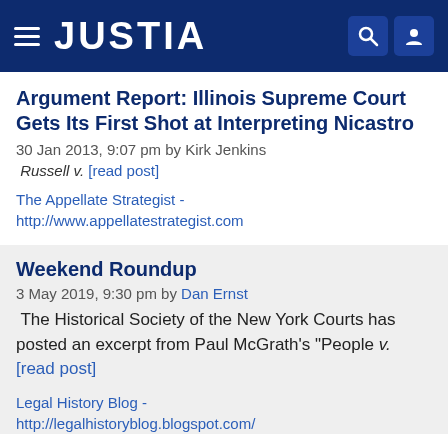JUSTIA
Argument Report: Illinois Supreme Court Gets Its First Shot at Interpreting Nicastro
30 Jan 2013, 9:07 pm by Kirk Jenkins
Russell v. [read post]
The Appellate Strategist - http://www.appellatestrategist.com
Weekend Roundup
3 May 2019, 9:30 pm by Dan Ernst
The Historical Society of the New York Courts has posted an excerpt from Paul McGrath's "People v. [read post]
Legal History Blog - http://legalhistoryblog.blogspot.com/